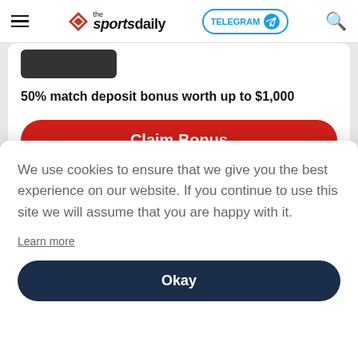the sportsdaily — TELEGRAM — Search
50% match deposit bonus worth up to $1,000
Claim Bonus
BetOnline will match your first deposit by 50%. This welcome bonus has a minimu…
We use cookies to ensure that we give you the best experience on our website. If you continue to use this site we will assume that you are happy with it.
Learn more
Okay